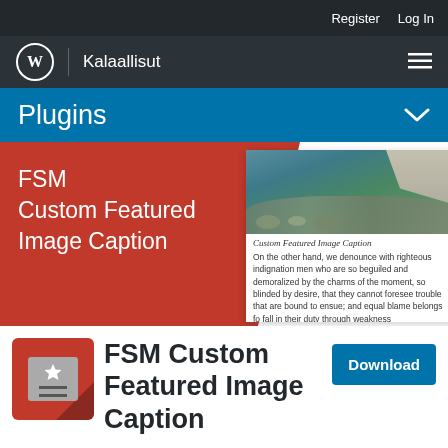Register   Log In
[Figure (screenshot): WordPress logo (W in circle) with site name Kalaallisut and hamburger menu]
Kalaallisut
Plugins
FSM Custom Featured Image Caption
[Figure (screenshot): Preview card showing Custom Featured Image Caption plugin with a photo of stones/water and sample body text: On the other hand, we denounce with righteous indignation men who are so beguiled and demoralized by the charms of the moment, so blinded by desire, that they cannot foresee trouble that are bound to ensue; and equal blame belongs fo fall in their duty through weakness...]
[Figure (logo): FSM Custom Featured Image Caption plugin icon: red background with grey image placeholder card containing a star and two lines]
FSM Custom Featured Image Caption
Download